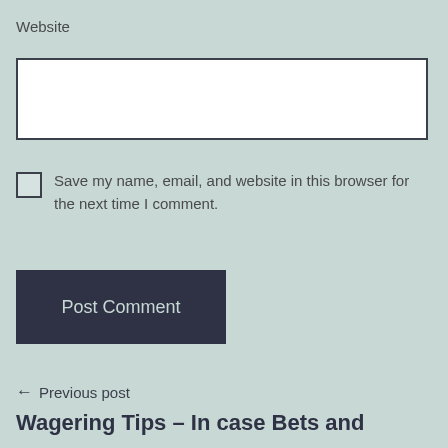Website
[Figure (other): Empty text input field for website URL]
Save my name, email, and website in this browser for the next time I comment.
[Figure (other): Post Comment button, dark navy background with light text]
← Previous post
Wagering Tips – In case Bets and